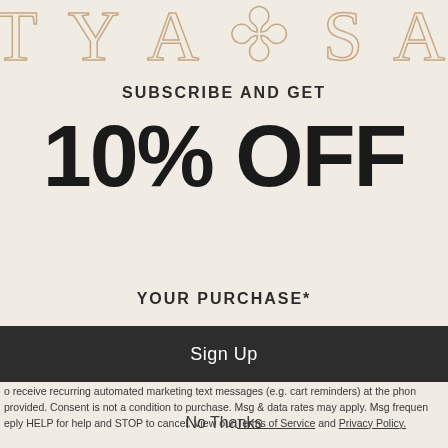[Figure (logo): Partial brand logo text 'A T Y A + S A G' in outline/stroke style letters, peach/tan color]
SUBSCRIBE AND GET
10% OFF
YOUR PURCHASE*
1 ▾ |
o receive recurring automated marketing text messages (e.g. cart reminders) at the phon provided. Consent is not a condition to purchase. Msg & data rates may apply. Msg frequen eply HELP for help and STOP to cancel. View our Terms of Service and Privacy Policy.
Sign Up
No Thanks